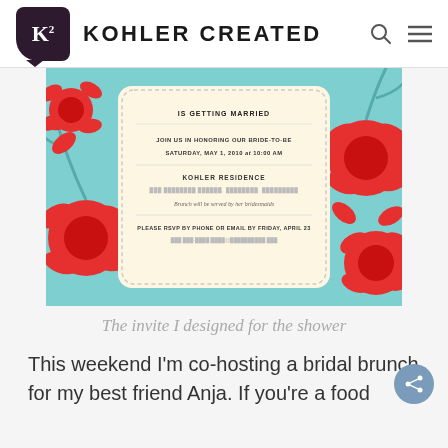K² KOHLER CREATED
[Figure (illustration): A bridal shower invitation card with red floral pattern on teal background. Center cream card reads: IS GETTING MARRIED / JOIN US IN HONORING OUR BRIDE-TO-BE / SATURDAY, MAY 1, 2010 at 10:00 AM / KOHLER RESIDENCE / [address blurred] / Brunch will be served by her bridesmaids / PLEASE RSVP BY PHONE OR EMAIL BY FRIDAY, APRIL 23 / [contact info blurred]]
The invite I designed for the shower
This weekend I'm co-hosting a bridal brunch for my best friend Anja. If you're a food